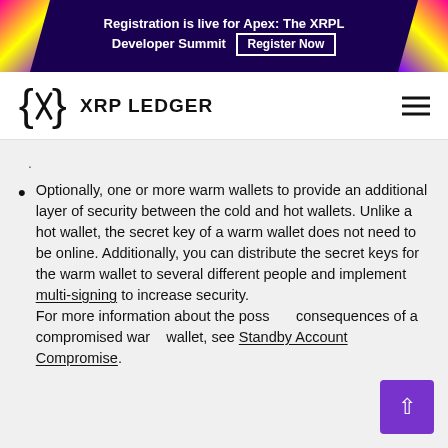Registration is live for Apex: The XRPL Developer Summit  Register Now
[Figure (logo): XRP Ledger logo with curly braces and X mark, and text XRP LEDGER]
Optionally, one or more warm wallets to provide an additional layer of security between the cold and hot wallets. Unlike a hot wallet, the secret key of a warm wallet does not need to be online. Additionally, you can distribute the secret keys for the warm wallet to several different people and implement multi-signing to increase security.
For more information about the possible consequences of a compromised warm wallet, see Standby Account Compromise.